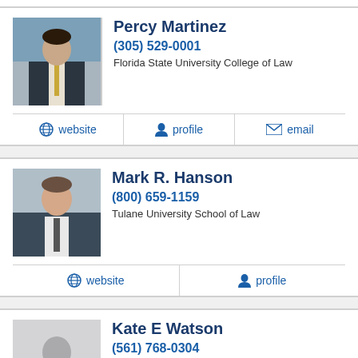Percy Martinez
(305) 529-0001
Florida State University College of Law
website
profile
email
Mark R. Hanson
(800) 659-1159
Tulane University School of Law
website
profile
Kate E Watson
(561) 768-0304